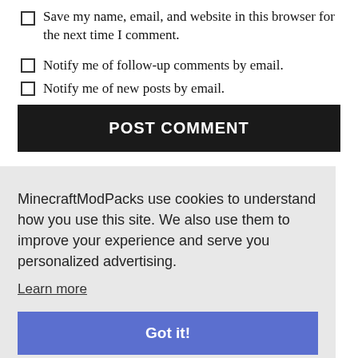Save my name, email, and website in this browser for the next time I comment.
Notify me of follow-up comments by email.
Notify me of new posts by email.
POST COMMENT
MinecraftModPacks use cookies to understand how you use this site. We also use them to improve your experience and serve you personalized advertising.
Learn more
Got it!